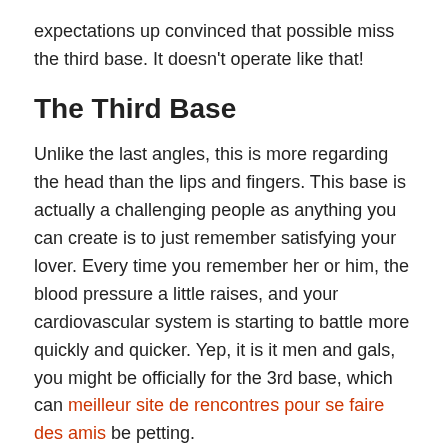expectations up convinced that possible miss the third base. It doesn't operate like that!
The Third Base
Unlike the last angles, this is more regarding the head than the lips and fingers. This base is actually a challenging people as anything you can create is to just remember satisfying your lover. Every time you remember her or him, the blood pressure a little raises, and your cardiovascular system is starting to battle more quickly and quicker. Yep, it is it men and gals, you might be officially for the 3rd base, which can meilleur site de rencontres pour se faire des amis be petting.
Petting is the time when you can finally hardly take control